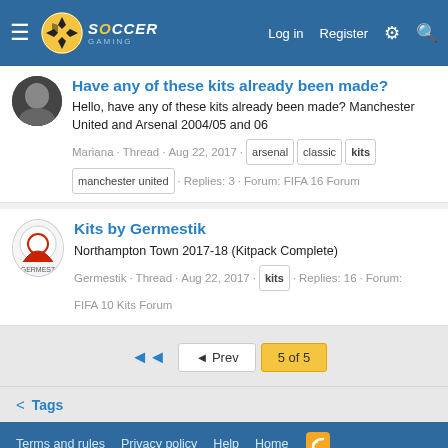Soccer Gaming — Log in | Register
Have any of these kits already been made?
Hello, have any of these kits already been made? Manchester United and Arsenal 2004/05 and 06
Mariana · Thread · Aug 22, 2017 · arsenal · classic · kits · manchester united · Replies: 3 · Forum: FIFA 16 Forum
Kits by Germestik
Northampton Town 2017-18 (Kitpack Complete)
Germestik · Thread · Aug 22, 2017 · kits · Replies: 16 · Forum: FIFA 10 Kits Forum
◄◄  ◄ Prev  5 of 5
< Tags
Terms and rules  Privacy policy  Help  Home
Forum software by XenForo® © 2010-2020 XenForo Ltd.